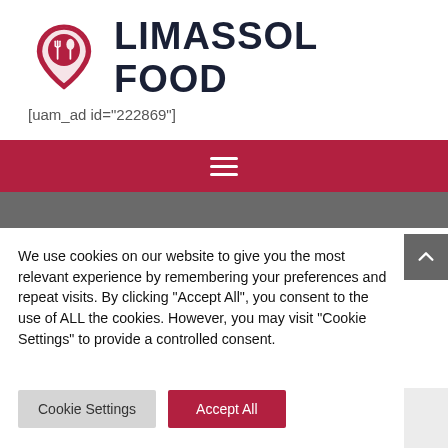[Figure (logo): Limassol Food logo: a red location pin shape containing a fork and spoon silhouette, next to bold dark text reading LIMASSOL FOOD]
[uam_ad id="222869"]
[Figure (other): Red navigation bar with hamburger menu icon (three horizontal white lines)]
[Figure (photo): Dark grey hero image strip partially visible]
We use cookies on our website to give you the most relevant experience by remembering your preferences and repeat visits. By clicking “Accept All”, you consent to the use of ALL the cookies. However, you may visit "Cookie Settings" to provide a controlled consent.
Cookie Settings
Accept All